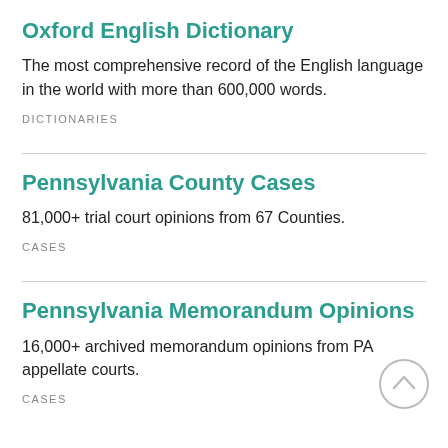Oxford English Dictionary
The most comprehensive record of the English language in the world with more than 600,000 words.
DICTIONARIES
Pennsylvania County Cases
81,000+ trial court opinions from 67 Counties.
CASES
Pennsylvania Memorandum Opinions
16,000+ archived memorandum opinions from PA appellate courts.
CASES